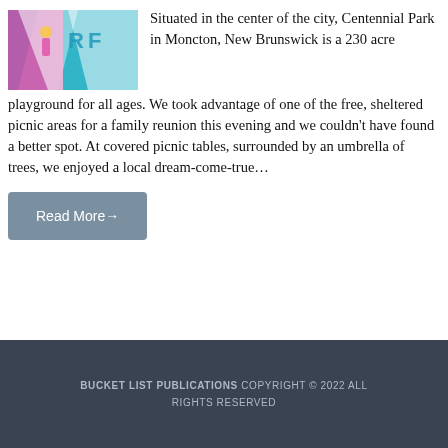[Figure (photo): Colorful surfing/beach scene with pink, teal and white colors, partial image showing clothing or flags]
Situated in the center of the city, Centennial Park in Moncton, New Brunswick is a 230 acre playground for all ages. We took advantage of one of the free, sheltered picnic areas for a family reunion this evening and we couldn't have found a better spot. At covered picnic tables, surrounded by an umbrella of trees, we enjoyed a local dream-come-true…
Read More→
BUCKET LIST PUBLICATIONS COPYRIGHT © 2022 ALL RIGHTS RESERVED